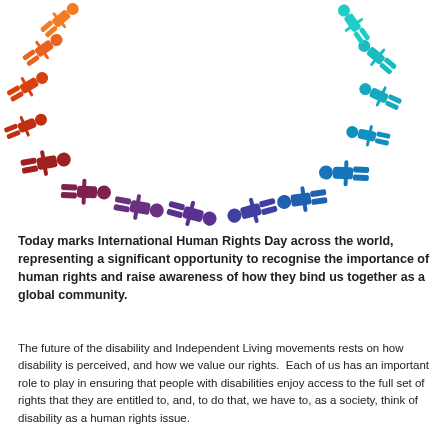[Figure (illustration): A rainbow arc of colorful human silhouette figures arranged in a semicircle. Left side figures are orange-red, transitioning through red, dark red, purple in the center bottom, then blue, teal on the right side. Figures appear to be tumbling or falling, arranged to form an arc shape.]
Today marks International Human Rights Day across the world, representing a significant opportunity to recognise the importance of human rights and raise awareness of how they bind us together as a global community.
The future of the disability and Independent Living movements rests on how disability is perceived, and how we value our rights.  Each of us has an important role to play in ensuring that people with disabilities enjoy access to the full set of rights that they are entitled to, and, to do that, we have to, as a society, think of disability as a human rights issue.